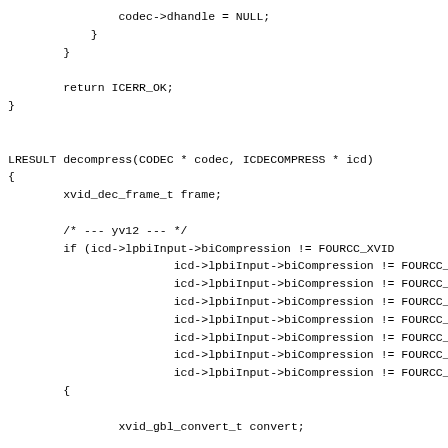codec->dhandle = NULL;
            }
        }

        return ICERR_OK;
}


LRESULT decompress(CODEC * codec, ICDECOMPRESS * icd)
{
        xvid_dec_frame_t frame;

        /* --- yv12 --- */
        if (icd->lpbiInput->biCompression != FOURCC_XVID
                        icd->lpbiInput->biCompression != FOURCC_
                        icd->lpbiInput->biCompression != FOURCC_
                        icd->lpbiInput->biCompression != FOURCC_
                        icd->lpbiInput->biCompression != FOURCC_
                        icd->lpbiInput->biCompression != FOURCC_
                        icd->lpbiInput->biCompression != FOURCC_
                        icd->lpbiInput->biCompression != FOURCC_
        {

                xvid_gbl_convert_t convert;

                DPRINTF("input=%c%c%c%c output=%c%c%c%c",
                        icd->lpbiInput->biCompression&0x1
                        (icd->lpbiInput->biCompression>>8
                        (icd->lpbiInput->biCompression>>1
                        (icd->lpbiInput->biCompression>>2
                        icd->lpbiOutput->biCompression&0x